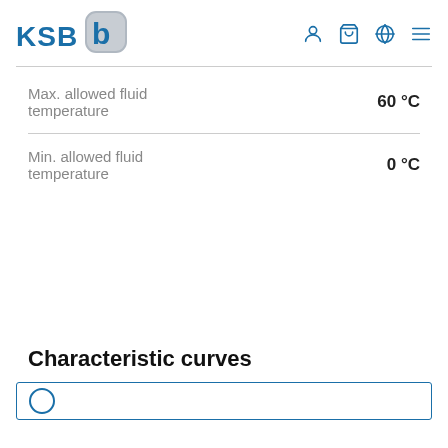KSB
| Property | Value |
| --- | --- |
| Max. allowed fluid temperature | 60 °C |
| Min. allowed fluid temperature | 0 °C |
Characteristic curves
[Figure (other): Characteristic curves chart box (partially visible)]